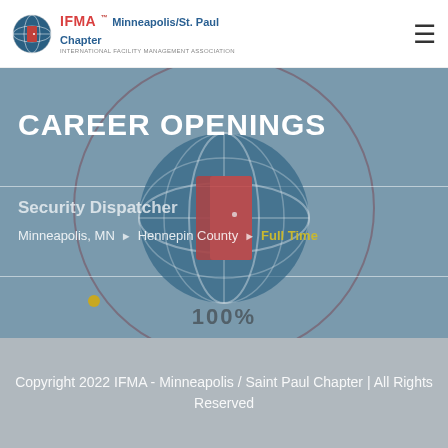IFMA Minneapolis/St. Paul Chapter
CAREER OPENINGS
Security Dispatcher
Minneapolis, MN ▶ Hennepin County ▶ Full Time
[Figure (logo): IFMA globe logo with open door icon, decorative circle overlay]
Copyright 2022 IFMA - Minneapolis / Saint Paul Chapter | All Rights Reserved